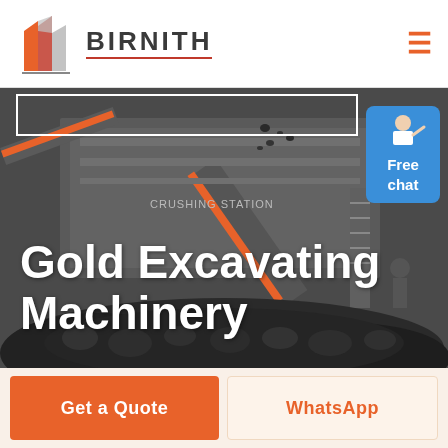[Figure (logo): Birnith company logo with orange/red building icon and bold text BIRNITH with red underline]
[Figure (photo): Industrial gold excavating / crushing station machinery with large conveyor belts, rock crushers, and piles of dark ore/coal in dark grey tones]
Gold Excavating Machinery
[Figure (illustration): Free chat button (blue bubble) with customer service agent figure in top right of hero image]
Get a Quote
WhatsApp